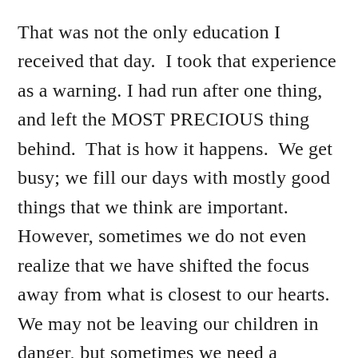That was not the only education I received that day.  I took that experience as a warning. I had run after one thing, and left the MOST PRECIOUS thing behind.  That is how it happens.  We get busy; we fill our days with mostly good things that we think are important. However, sometimes we do not even realize that we have shifted the focus away from what is closest to our hearts. We may not be leaving our children in danger, but sometimes we need a reminder to make sure they have our attention.
Later, when I had that bad dream, we were in a